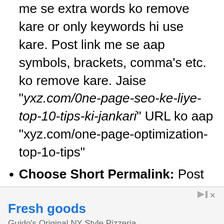Remove Extra Words: Post permalink me se extra words ko remove kare or only keywords hi use kare. Post link me se aap symbols, brackets, comma's etc. ko remove kare. Jaise "yxz.com/0ne-page-seo-ke-liye-top-10-tips-ki-jankari" URL ko aap "xyz.com/one-page-optimization-top-1o-tips"
Choose Short Permalink: Post ka URL jitna ho sake short use kare. Jyada large permalink search me show nahi hote hai.
Add Targeting Keywords: Permalink me...
[Figure (other): Advertisement banner for Guido's Original NY Style Pizzeria with title 'Fresh goods', subtitle 'Guido's Original NY Style Pizzeria', URL 'guidosoriginal', and an 'Open' button in blue.]